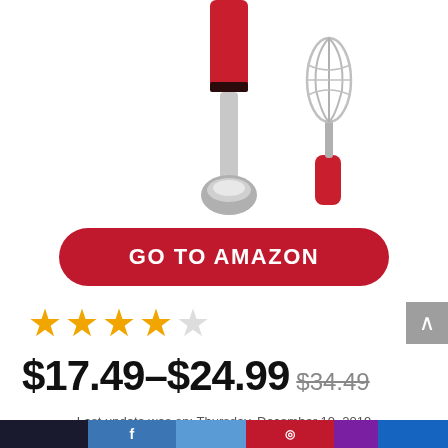[Figure (photo): Red hand blender/immersion blender with whisk attachment accessory]
GO TO AMAZON
★★★★★ (4 out of 5 stars)
$17.49–$24.99 $34.49
Last update was on: Thursday, December 19, 2019